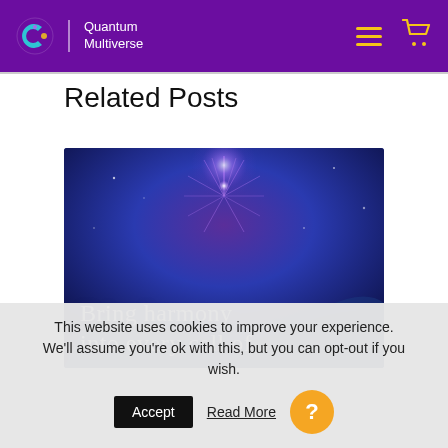Quantum Multiverse
Related Posts
[Figure (illustration): Blog post thumbnail image with cosmic/spiritual background showing purple energy burst and text 'Bring harmony into every cell of']
This website uses cookies to improve your experience. We'll assume you're ok with this, but you can opt-out if you wish. Accept  Read More